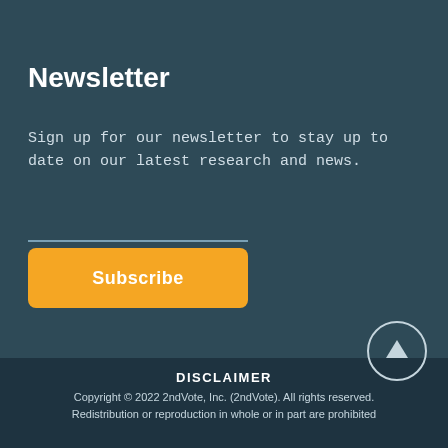Newsletter
Sign up for our newsletter to stay up to date on our latest research and news.
[Figure (other): Orange Subscribe button]
[Figure (other): Scroll to top circular button with upward arrow]
DISCLAIMER
Copyright © 2022 2ndVote, Inc. (2ndVote). All rights reserved. Redistribution or reproduction in whole or in part are prohibited